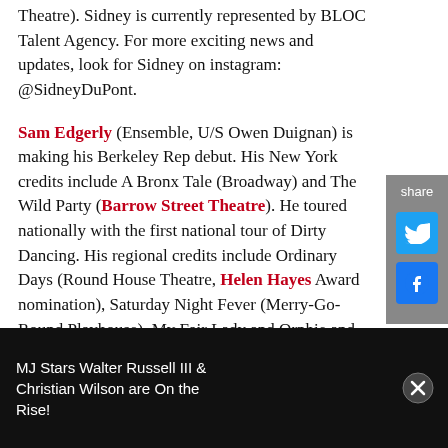Theatre). Sidney is currently represented by BLOC Talent Agency. For more exciting news and updates, look for Sidney on instagram: @SidneyDuPont.
Sam Edgerly (Ensemble, U/S Owen Duignan) is making his Berkeley Rep debut. His New York credits include A Bronx Tale (Broadway) and The Wild Party (Barrow Street Theatre). He toured nationally with the first national tour of Dirty Dancing. His regional credits include Ordinary Days (Round House Theatre, Helen Hayes Award nomination), Saturday Night Fever (Merry-Go-Round Playhouse), My Fair Lady and Orphie and the Book of Heroes (the Kennedy Center), and Gypsy (Signature Theatre)
[Figure (other): Social share sidebar with Twitter and Facebook icons]
MJ Stars Walter Russell III & Christian Wilson are On the Rise!